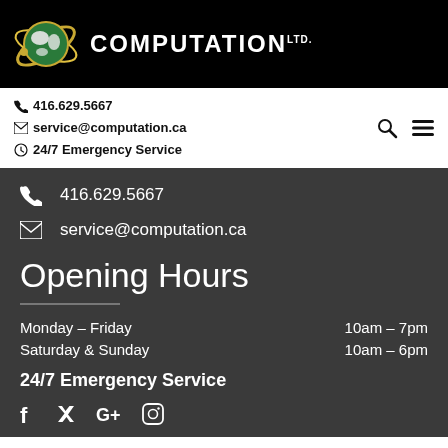[Figure (logo): Computation Ltd. logo with globe graphic and company name in white bold text on black header bar]
416.629.5667
service@computation.ca
24/7 Emergency Service
416.629.5667
service@computation.ca
Opening Hours
Monday – Friday	10am – 7pm
Saturday & Sunday	10am – 6pm
24/7 Emergency Service
f  𝕏  G+  ⊙